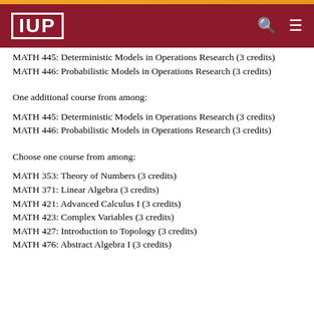IUP
MATH 445: Deterministic Models in Operations Research (3 credits)
MATH 446: Probabilistic Models in Operations Research (3 credits)
One additional course from among:
MATH 445: Deterministic Models in Operations Research (3 credits)
MATH 446: Probabilistic Models in Operations Research (3 credits)
Choose one course from among:
MATH 353: Theory of Numbers (3 credits)
MATH 371: Linear Algebra (3 credits)
MATH 421: Advanced Calculus I (3 credits)
MATH 423: Complex Variables (3 credits)
MATH 427: Introduction to Topology (3 credits)
MATH 476: Abstract Algebra I (3 credits)